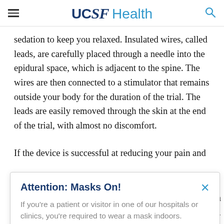UCSF Health
sedation to keep you relaxed. Insulated wires, called leads, are carefully placed through a needle into the epidural space, which is adjacent to the spine. The wires are then connected to a stimulator that remains outside your body for the duration of the trial. The leads are easily removed through the skin at the end of the trial, with almost no discomfort.
If the device is successful at reducing your pain and
Attention: Masks On!
If you're a patient or visitor in one of our hospitals or clinics, you're required to wear a mask indoors.